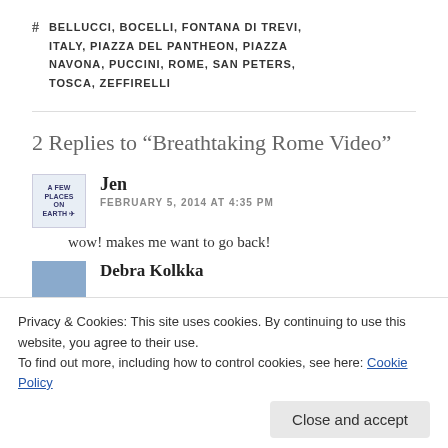# BELLUCCI, BOCELLI, FONTANA DI TREVI, ITALY, PIAZZA DEL PANTHEON, PIAZZA NAVONA, PUCCINI, ROME, SAN PETERS, TOSCA, ZEFFIRELLI
2 Replies to “Breathtaking Rome Video”
Jen
FEBRUARY 5, 2014 AT 4:35 PM
wow! makes me want to go back!
Privacy & Cookies: This site uses cookies. By continuing to use this website, you agree to their use.
To find out more, including how to control cookies, see here: Cookie Policy
Debra Kolkka